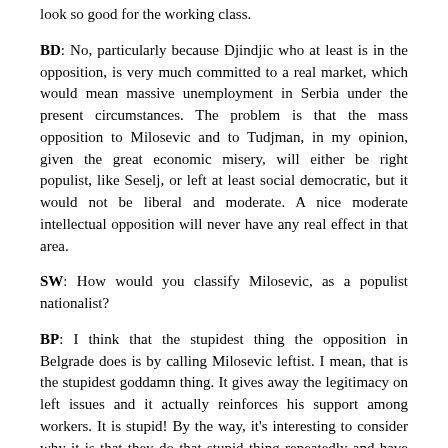look so good for the working class.
BD: No, particularly because Djindjic who at least is in the opposition, is very much committed to a real market, which would mean massive unemployment in Serbia under the present circumstances. The problem is that the mass opposition to Milosevic and to Tudjman, in my opinion, given the great economic misery, will either be right populist, like Seselj, or left at least social democratic, but it would not be liberal and moderate. A nice moderate intellectual opposition will never have any real effect in that area.
SW: How would you classify Milosevic, as a populist nationalist?
BP: I think that the stupidest thing the opposition in Belgrade does is by calling Milosevic leftist. I mean, that is the stupidest goddamn thing. It gives away the legitimacy on left issues and it actually reinforces his support among workers. It is stupid! By the way, it's interesting to consider why it is that they do that stupid thing repeatedly and have the slogan as Down with Reds and Commies